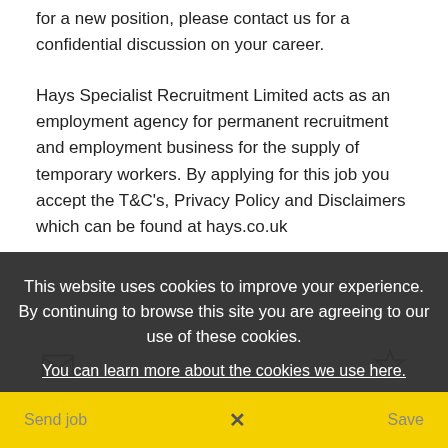for a new position, please contact us for a confidential discussion on your career.
Hays Specialist Recruitment Limited acts as an employment agency for permanent recruitment and employment business for the supply of temporary workers. By applying for this job you accept the T&C's, Privacy Policy and Disclaimers which can be found at hays.co.uk
Share this job
This website uses cookies to improve your experience. By continuing to browse this site you are agreeing to our use of these cookies.
You can learn more about the cookies we use here.
Send job
X
Save